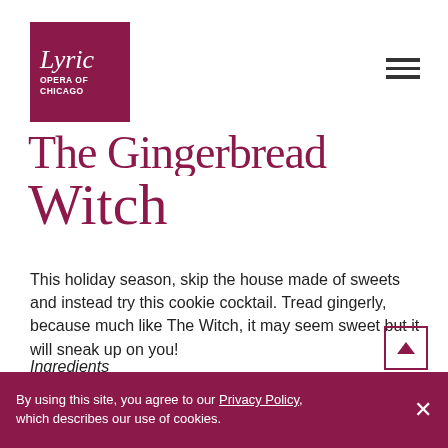[Figure (logo): Lyric Opera of Chicago logo — white italic 'Lyric' text over 'OPERA OF CHICAGO' on dark magenta/burgundy square background]
The Gingerbread Witch
This holiday season, skip the house made of sweets and instead try this cookie cocktail. Tread gingerly, because much like The Witch, it may seem sweet but it will sneak up on you!
Ingredients
4 oz Irish cream liqueur
By using this site, you agree to our Privacy Policy, which describes our use of cookies.